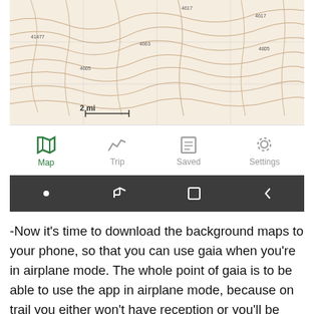[Figure (screenshot): Mobile app screenshot showing a topographic map with '2 mi' scale label, a bottom navigation bar with Map (active/green), Trip, Saved, and Settings icons, and a dark system navigation bar with back, home, recents, and return icons.]
-Now it's time to download the background maps to your phone, so that you can use gaia when you're in airplane mode. The whole point of gaia is to be able to use the app in airplane mode, because on trail you either won't have reception or you'll be saving your battery (or both). If you try to use gaia without reception and you haven't downloaded the background maps, you'll just see a blurry map. Even without reception (or while in airplane mode), the GPS in your phone still works